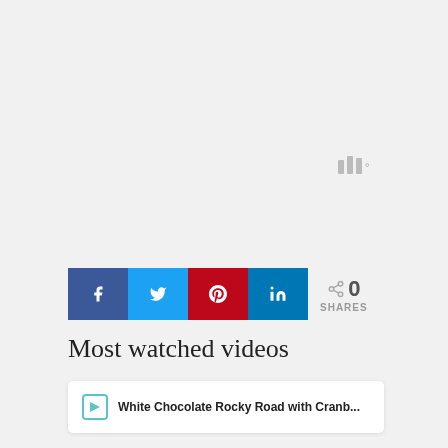[Figure (screenshot): Social media share bar with Facebook, Twitter, Pinterest, LinkedIn buttons, a share icon and 0 SHARES count]
Most watched videos
White Chocolate Rocky Road with Cranb...